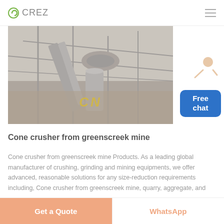CREZ
[Figure (photo): Aerial view of a cone crusher and mining equipment at an industrial/mining site, with conveyor belts and machinery visible. 'CN' text overlay in yellow italic letters.]
Cone crusher from greenscreek mine
Cone crusher from greenscreek mine Products. As a leading global manufacturer of crushing, grinding and mining equipments, we offer advanced, reasonable solutions for any size-reduction requirements including, Cone crusher from greenscreek mine, quarry, aggregate, and different kinds of
Get a Quote | WhatsApp